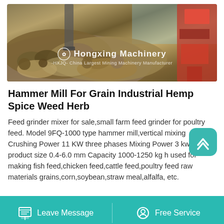[Figure (photo): Photo of a large pile of crushed rocks/gravel with heavy mining machinery (red crusher) in the background, featuring Hongxing Machinery branding overlay with text 'China Largest Mining Machinery Manufacturer']
Hammer Mill For Grain Industrial Hemp Spice Weed Herb
Feed grinder mixer for sale,small farm feed grinder for poultry feed. Model 9FQ-1000 type hammer mill,vertical mixing Crushing Power 11 KW three phases Mixing Power 3 kw final product size 0.4-6.0 mm Capacity 1000-1250 kg h used for making fish feed,chicken feed,cattle feed,poultry feed raw materials grains,corn,soybean,straw meal,alfalfa, etc.
Leave Message   Free Service